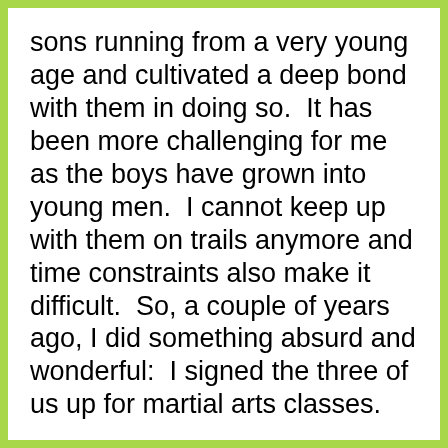sons running from a very young age and cultivated a deep bond with them in doing so.  It has been more challenging for me as the boys have grown into young men.  I cannot keep up with them on trails anymore and time constraints also make it difficult.  So, a couple of years ago, I did something absurd and wonderful:  I signed the three of us up for martial arts classes.
I am over forty, struggle with weight and health issues, and was frankly terrified of getting out on the mat.  However, two years in, we have